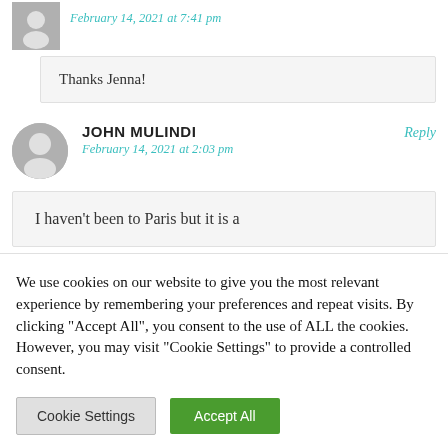February 14, 2021 at 7:41 pm
Thanks Jenna!
JOHN MULINDI
February 14, 2021 at 2:03 pm
Reply
I haven't been to Paris but it is a
We use cookies on our website to give you the most relevant experience by remembering your preferences and repeat visits. By clicking “Accept All”, you consent to the use of ALL the cookies. However, you may visit "Cookie Settings" to provide a controlled consent.
Cookie Settings
Accept All